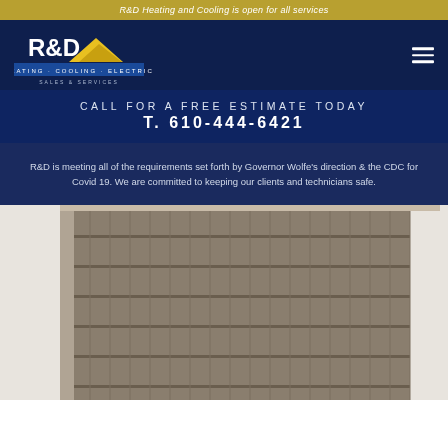R&D Heating and Cooling is open for all services
[Figure (logo): R&D Heating Cooling Electric Sales & Services logo with yellow house/mountain graphic on dark blue background]
CALL FOR A FREE ESTIMATE TODAY
T. 610-444-6421
R&D is meeting all of the requirements set forth by Governor Wolfe's direction & the CDC for Covid 19. We are committed to keeping our clients and technicians safe.
[Figure (photo): Close-up photo of an outdoor HVAC air conditioning condenser unit with metal grill fins]